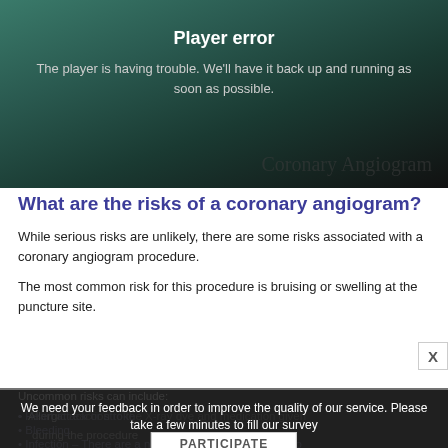[Figure (screenshot): Video player error screen showing a medical animation (Coronary Angiogram) with dark background, title 'Player error' and message about trouble.]
What are the risks of a coronary angiogram?
While serious risks are unlikely, there are some risks associated with a coronary angiogram procedure.
The most common risk for this procedure is bruising or swelling at the puncture site.
Uncommon risks can include:
Allergic reaction to the X-ray dye and medication given during the procedure
Heart attack or stroke
Bleeding
Infection – There are a number of things you can do to
We need your feedback in order to improve the quality of our service. Please take a few minutes to fill our survey
PARTICIPATE